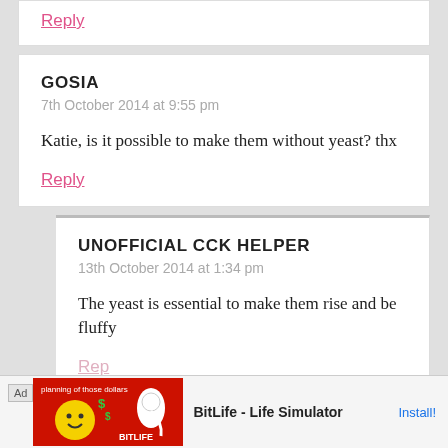Reply
GOSIA
7th October 2014 at 9:55 pm
Katie, is it possible to make them without yeast? thx
Reply
UNOFFICIAL CCK HELPER
13th October 2014 at 1:34 pm
The yeast is essential to make them rise and be fluffy
Repl
[Figure (infographic): Ad banner for BitLife - Life Simulator app with red background, emoji/dollar graphics, and Install button]